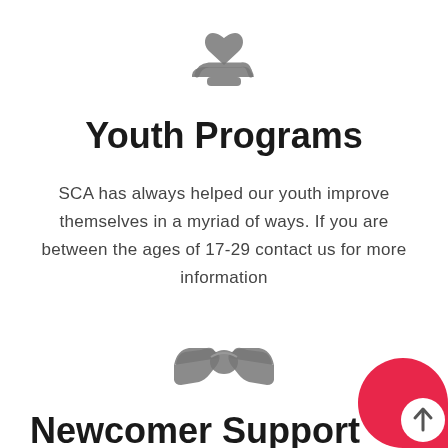[Figure (illustration): Gray icon of a hand receiving/giving a heart - charity/donation symbol]
Youth Programs
SCA has always helped our youth improve themselves in a myriad of ways. If you are between the ages of 17-29 contact us for more information
[Figure (illustration): Gray icon of two hands shaking or exchanging - support/partnership symbol]
Newcomer Support